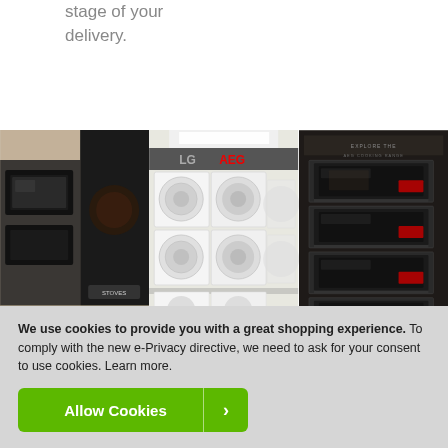stage of your delivery.
[Figure (photo): Three photos of appliance store showroom: cooking appliances display, washing machines on shelves with LG/AEG signage, and built-in ovens display]
We use cookies to provide you with a great shopping experience. To comply with the new e-Privacy directive, we need to ask for your consent to use cookies. Learn more.
Allow Cookies >